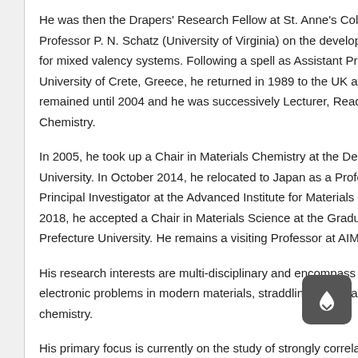He was then the Drapers' Research Fellow at St. Anne's College and worked with Professor P. N. Schatz (University of Virginia) on the development of MCD spectroscopy for mixed valency systems. Following a spell as Assistant Professor at the University of Crete, Greece, he returned in 1989 to the UK at where he remained until 2004 and he was successively Lecturer, Reader, and Professor of Chemistry.
In 2005, he took up a Chair in Materials Chemistry at the Department of Liverpool University. In October 2014, he relocated to Japan as a Professor and Principal Investigator at the Advanced Institute for Materials Research (AIMR). In 2018, he accepted a Chair in Materials Science at the Graduate School of Aichi Prefecture University. He remains a visiting Professor at AIMR.
His research interests are multi-disciplinary and encompass a variety of structural and electronic problems in modern materials, straddling the areas of physics and chemistry.
His primary focus is currently on the study of strongly correlated...